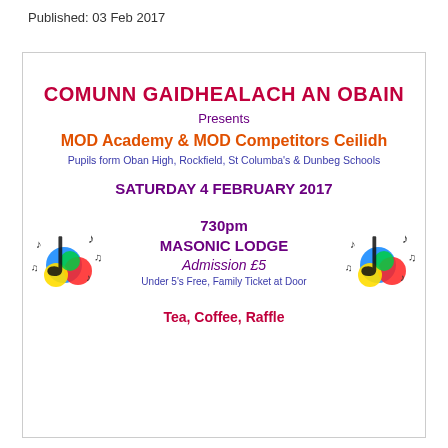Published: 03 Feb 2017
COMUNN GAIDHEALACH AN OBAIN
Presents
MOD Academy & MOD Competitors Ceilidh
Pupils form Oban High, Rockfield, St Columba's & Dunbeg Schools
SATURDAY 4 FEBRUARY 2017
[Figure (illustration): Colorful music note decoration with treble clef and colorful circles (left)]
730pm
MASONIC LODGE
Admission £5
Under 5's Free, Family Ticket at Door
[Figure (illustration): Colorful music note decoration with treble clef and colorful circles (right)]
Tea, Coffee, Raffle